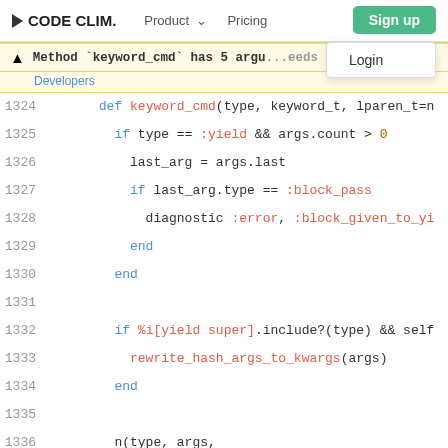CODE CLIM. | Product | Pricing | Sign up | Login
Method `keyword_cmd` has 5 argu... eeds 4 | Developers
1324   def keyword_cmd(type, keyword_t, lparen_t=n
1325     if type == :yield && args.count > 0
1326       last_arg = args.last
1327       if last_arg.type == :block_pass
1328         diagnostic :error, :block_given_to_yi
1329         end
1330       end
1331
1332       if %i[yield super].include?(type) && self
1333         rewrite_hash_args_to_kwargs(args)
1334       end
1335
1336       n(type, args,
1337         keyword_map(keyword_t, lparen_t, args,
1338       end